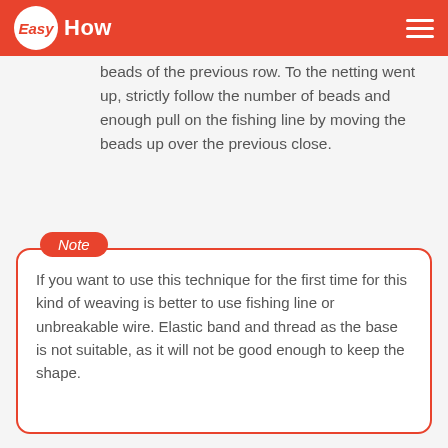EasyHow
beads of the previous row. To the netting went up, strictly follow the number of beads and enough pull on the fishing line by moving the beads up over the previous close.
Note
If you want to use this technique for the first time for this kind of weaving is better to use fishing line or unbreakable wire. Elastic band and thread as the base is not suitable, as it will not be good enough to keep the shape.